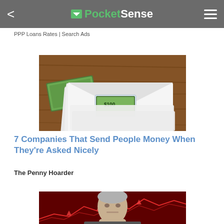PocketSense
PPP Loans Rates | Search Ads
[Figure (photo): White envelopes with US dollar bills visible through window cutouts, stacked on a wooden surface]
7 Companies That Send People Money When They're Asked Nicely
The Penny Hoarder
[Figure (photo): Older man's face with red financial chart background overlay]